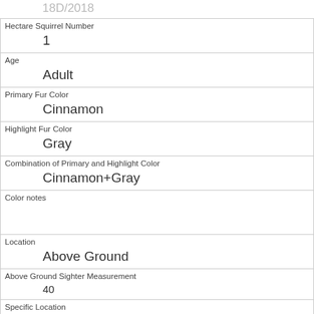| (partial) 18D/2018 |  |
| Hectare Squirrel Number | 1 |
| Age | Adult |
| Primary Fur Color | Cinnamon |
| Highlight Fur Color | Gray |
| Combination of Primary and Highlight Color | Cinnamon+Gray |
| Color notes |  |
| Location | Above Ground |
| Above Ground Sighter Measurement | 40 |
| Specific Location | tree |
| Running | 0 |